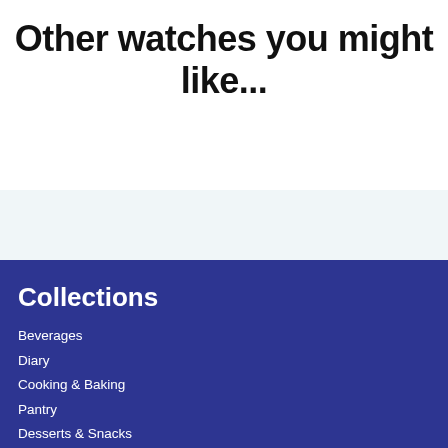Other watches you might like...
Collections
Beverages
Diary
Cooking & Baking
Pantry
Desserts & Snacks